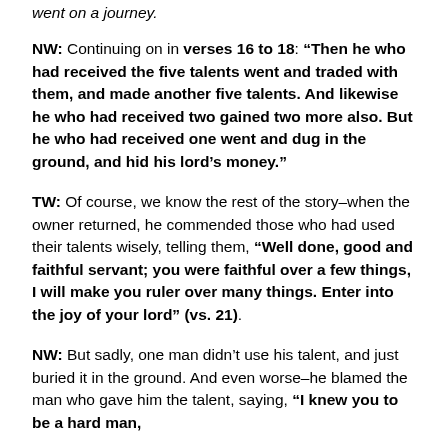went on a journey.
NW: Continuing on in verses 16 to 18: “Then he who had received the five talents went and traded with them, and made another five talents. And likewise he who had received two gained two more also. But he who had received one went and dug in the ground, and hid his lord’s money.”
TW: Of course, we know the rest of the story–when the owner returned, he commended those who had used their talents wisely, telling them, “Well done, good and faithful servant; you were faithful over a few things, I will make you ruler over many things. Enter into the joy of your lord” (vs. 21).
NW: But sadly, one man didn’t use his talent, and just buried it in the ground. And even worse–he blamed the man who gave him the talent, saying, “I knew you to be a hard man,